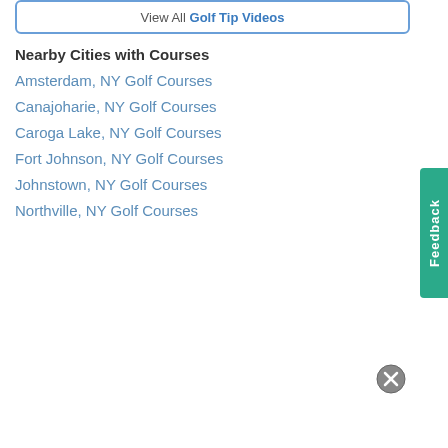View All Golf Tip Videos
Nearby Cities with Courses
Amsterdam, NY Golf Courses
Canajoharie, NY Golf Courses
Caroga Lake, NY Golf Courses
Fort Johnson, NY Golf Courses
Johnstown, NY Golf Courses
Northville, NY Golf Courses
Feedback
[Figure (other): Close/dismiss button (X icon circle)]